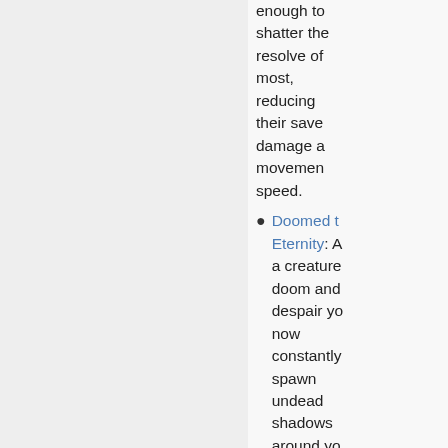enough to shatter the resolve of most, reducing their save damage and movement speed.
Doomed to Eternity: As a creature doom and despair you now constantly spawn undead shadows around yo...